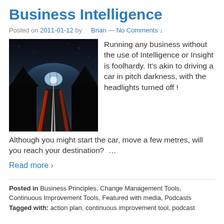Business Intelligence
Posted on 2011-01-12 by    Brian — No Comments ↓
[Figure (photo): Night highway with car light trails on a dark road, headlights and tail lights visible]
Running any business without the use of Intelligence or Insight is foolhardy. It's akin to driving a car in pitch darkness, with the headlights turned off ! Although you might start the car, move a few metres, will you reach your destination?  …
Read more ›
Posted in Business Principles, Change Management Tools, Continuous Improvement Tools, Featured with media, Podcasts Tagged with: action plan, continuous improvement tool, podcast